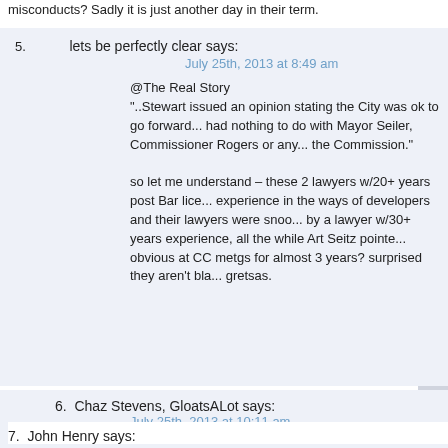misconducts? Sadly it is just another day in their term.
5. lets be perfectly clear says:
July 25th, 2013 at 8:49 am
@The Real Story
"..Stewart issued an opinion stating the City was ok to go forward...had nothing to do with Mayor Seiler, Commissioner Rogers or any...the Commission."
so let me understand – these 2 lawyers w/20+ years post Bar lice...experience in the ways of developers and their lawyers were snoo...by a lawyer w/30+ years experience, all the while Art Seitz pointe...obvious at CC metgs for almost 3 years? surprised they aren't bla...gretsas.
6. Chaz Stevens, GloatsALot says:
July 25th, 2013 at 10:11 am
@5
You mistake longevity for competency.
7. John Henry says: